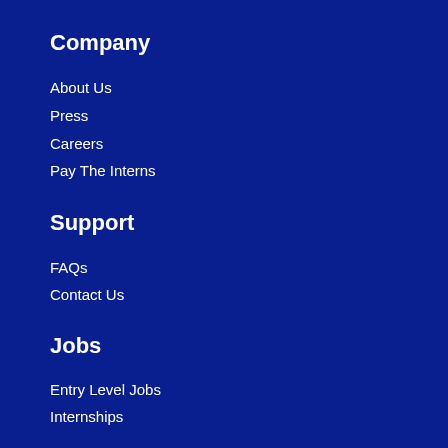Company
About Us
Press
Careers
Pay The Interns
Support
FAQs
Contact Us
Jobs
Entry Level Jobs
Internships
Connect with us
[Figure (illustration): Social media icons: Facebook, Twitter, Instagram, YouTube, LinkedIn]